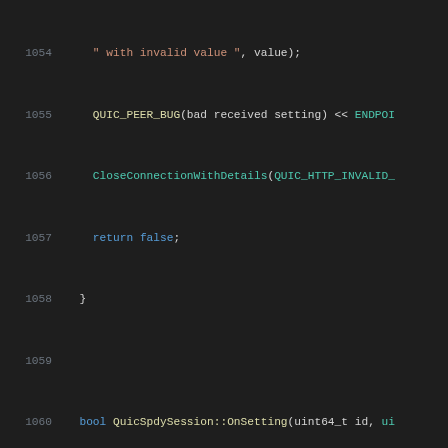[Figure (screenshot): Source code screenshot showing C++ code for QuicSpdySession with syntax highlighting. Lines 1054-1075 visible. Dark background IDE theme with colored syntax highlighting. Shows code related to QUIC protocol settings handling including OnSetting function, VersionUsesHttp3 check, switch statement on id, SETTINGS_QPACK_MAX_TABLE_CAPACITY case, and QUIC_DVLOG logging.]